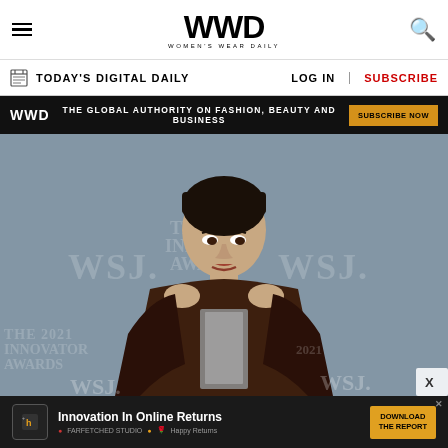WWD - Women's Wear Daily
TODAY'S DIGITAL DAILY | LOG IN | SUBSCRIBE
WWD - THE GLOBAL AUTHORITY ON FASHION, BEAUTY AND BUSINESS - SUBSCRIBE NOW
[Figure (photo): A woman in a dark brown leather outfit and long gloves holding a metallic award trophy at the WSJ Innovator Awards 2021, posing in front of a WSJ branded step-and-repeat backdrop.]
Innovation In Online Returns - DOWNLOAD THE REPORT